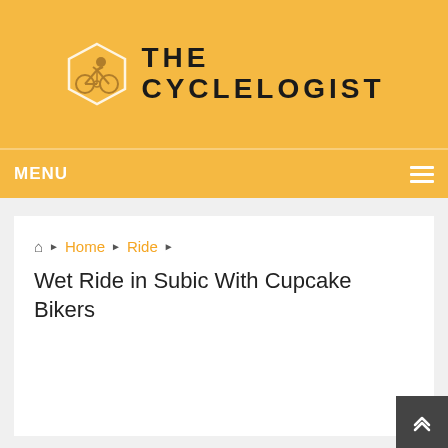[Figure (logo): The Cycleologist website logo: hexagonal badge with cyclist icon on left, bold uppercase text 'THE CYCLELOGIST' on right, on golden/amber background]
MENU
Home ▶ Ride ▶
Wet Ride in Subic With Cupcake Bikers